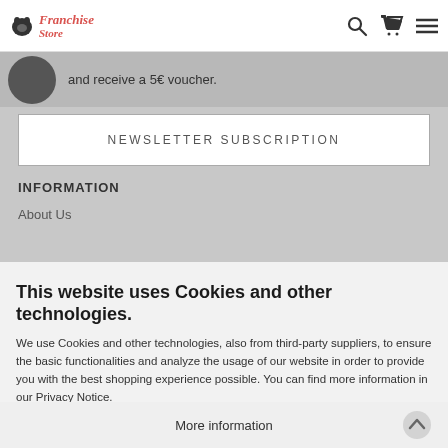Franchise Store logo, search, cart, menu icons
and receive a 5€ voucher.
NEWSLETTER SUBSCRIPTION
INFORMATION
About Us
This website uses Cookies and other technologies.
We use Cookies and other technologies, also from third-party suppliers, to ensure the basic functionalities and analyze the usage of our website in order to provide you with the best shopping experience possible. You can find more information in our Privacy Notice.
Accept all
More information